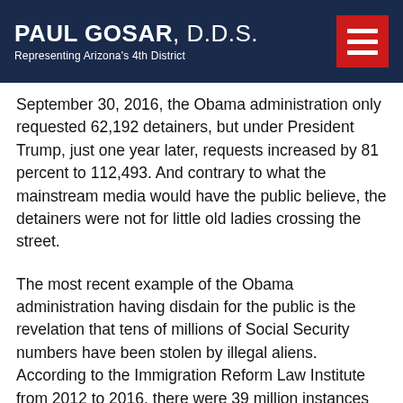PAUL GOSAR, D.D.S. — Representing Arizona's 4th District
September 30, 2016, the Obama administration only requested 62,192 detainers, but under President Trump, just one year later, requests increased by 81 percent to 112,493. And contrary to what the mainstream media would have the public believe, the detainers were not for little old ladies crossing the street.
The most recent example of the Obama administration having disdain for the public is the revelation that tens of millions of Social Security numbers have been stolen by illegal aliens. According to the Immigration Reform Law Institute from 2012 to 2016, there were 39 million instances where names and Social Security numbers on W-2 tax forms did not match. Not only did the numbers not match, but the Obama administration also decided to not inform the employers.
This is troublesome for several reasons, the least of which is the authorities dedicated to law enforcement were actively aiding and abetting illegal aliens breaking the law. It also